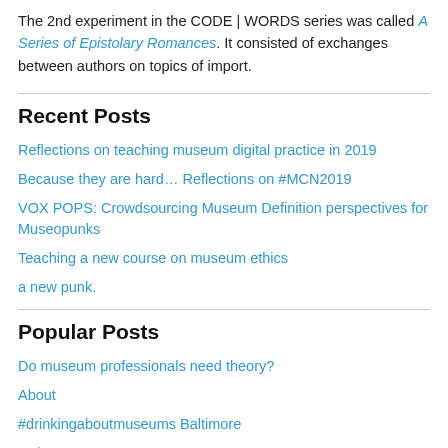The 2nd experiment in the CODE | WORDS series was called A Series of Epistolary Romances. It consisted of exchanges between authors on topics of import.
Recent Posts
Reflections on teaching museum digital practice in 2019
Because they are hard… Reflections on #MCN2019
VOX POPS: Crowdsourcing Museum Definition perspectives for Museopunks
Teaching a new course on museum ethics
a new punk.
Popular Posts
Do museum professionals need theory?
About
#drinkingaboutmuseums Baltimore
To be cont...